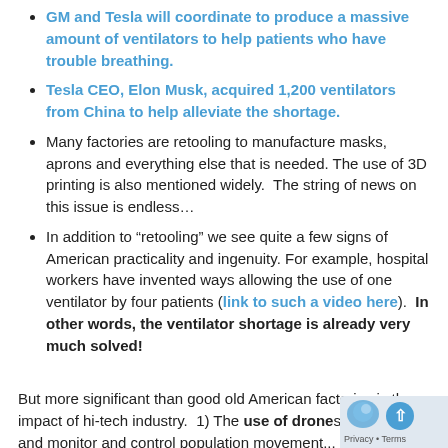GM and Tesla will coordinate to produce a massive amount of ventilators to help patients who have trouble breathing.
Tesla CEO, Elon Musk, acquired 1,200 ventilators from China to help alleviate the shortage.
Many factories are retooling to manufacture masks, aprons and everything else that is needed. The use of 3D printing is also mentioned widely.  The string of news on this issue is endless…
In addition to “retooling” we see quite a few signs of American practicality and ingenuity. For example, hospital workers have invented ways allowing the use of one ventilator by four patients (link to such a video here).  In other words, the ventilator shortage is already very much solved!
But more significant than good old American factories is the impact of hi-tech industry.  1) The use of drones to the public and monitor and control population movement...  2)